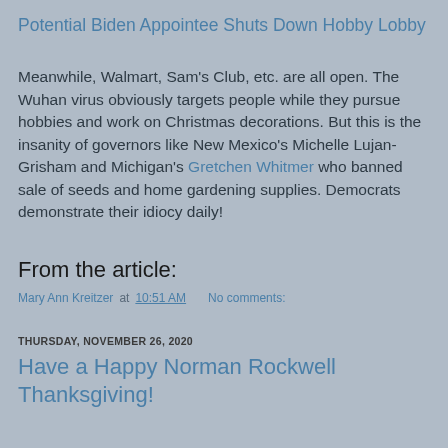Potential Biden Appointee Shuts Down Hobby Lobby
Meanwhile, Walmart, Sam's Club, etc. are all open. The Wuhan virus obviously targets people while they pursue hobbies and work on Christmas decorations. But this is the insanity of governors like New Mexico's Michelle Lujan-Grisham and Michigan's Gretchen Whitmer who banned sale of seeds and home gardening supplies. Democrats demonstrate their idiocy daily!
From the article:
Mary Ann Kreitzer at 10:51 AM   No comments:
THURSDAY, NOVEMBER 26, 2020
Have a Happy Norman Rockwell Thanksgiving!